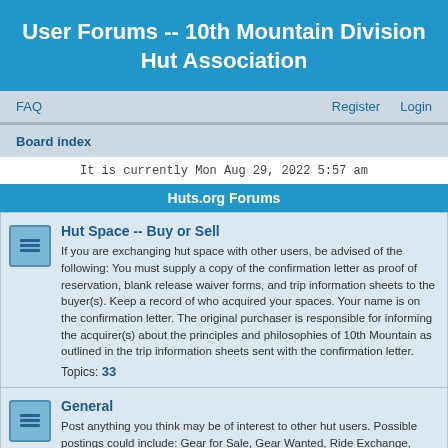User Forums -- 10th Mountain Division Hut Association
FAQ   Register   Login
Board index
It is currently Mon Aug 29, 2022 5:57 am
Huts.org Forums
Hut Space -- Buy or Sell
If you are exchanging hut space with other users, be advised of the following: You must supply a copy of the confirmation letter as proof of reservation, blank release waiver forms, and trip information sheets to the buyer(s). Keep a record of who acquired your spaces. Your name is on the confirmation letter. The original purchaser is responsible for informing the acquirer(s) about the principles and philosophies of 10th Mountain as outlined in the trip information sheets sent with the confirmation letter. Topics: 33
General
Post anything you think may be of interest to other hut users. Possible postings could include: Gear for Sale, Gear Wanted, Ride Exchange, Travel/Ski partners, Announcements about Avalanche or Backcountry Courses, Suggestions, Presentations or Slide Shows, Backcountry Tips, and Lost & Found. Please avoid profanity and heavy politcial polemics. Topics: 13
Trail & Road Conditions
Share route and backcountry conditions at the huts during both summer and